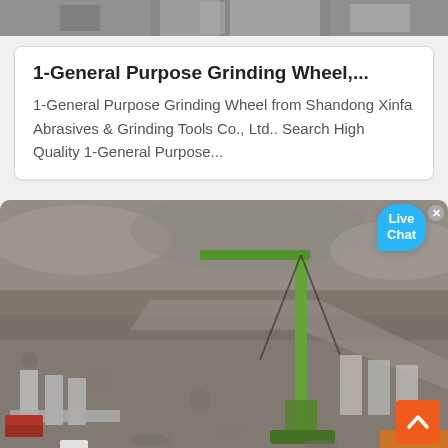[Figure (photo): Partial top image cropped, appears to show industrial/machinery equipment in grayscale]
1-General Purpose Grinding Wheel,...
1-General Purpose Grinding Wheel from Shandong Xinfa Abrasives & Grinding Tools Co., Ltd.. Search High Quality 1-General Purpose...
[Figure (photo): Aerial/overhead view of a construction site showing excavated terrain, a green crane, concrete structures, heavy equipment, and red truck. Live Chat button overlay in top right corner. Orange back-to-top button in bottom right.]